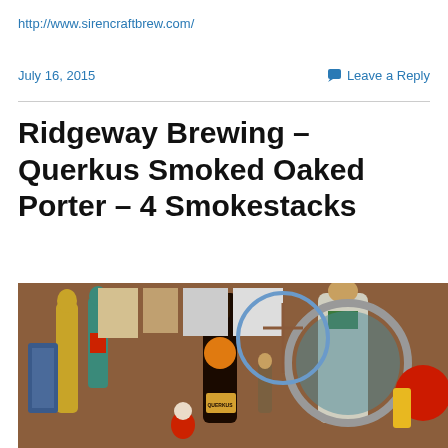http://www.sirencraftbrew.com/
July 16, 2015
Leave a Reply
Ridgeway Brewing – Querkus Smoked Oaked Porter – 4 Smokestacks
[Figure (photo): A colorful display of figurines, religious statues, action figures, and assorted collectibles arranged on a shelf or table, with a dark bottle of Querkus beer prominently placed in the center foreground.]